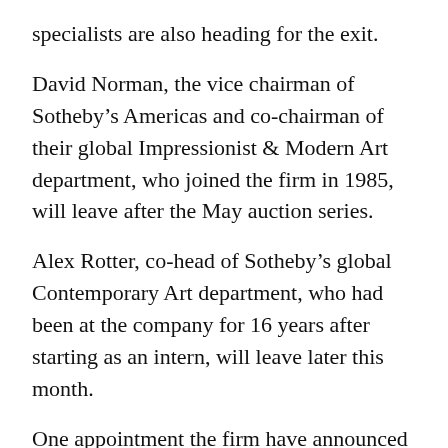specialists are also heading for the exit.
David Norman, the vice chairman of Sotheby's Americas and co-chairman of their global Impressionist & Modern Art department, who joined the firm in 1985, will leave after the May auction series.
Alex Rotter, co-head of Sotheby's global Contemporary Art department, who had been at the company for 16 years after starting as an intern, will leave later this month.
One appointment the firm have announced is that of Michael Goss as executive vice president and chief financial officer.
He will assume his new role at the end of March, replacing Patrick McClymont, who left in December.
Goss, 56, was a partner and managing director at Bain